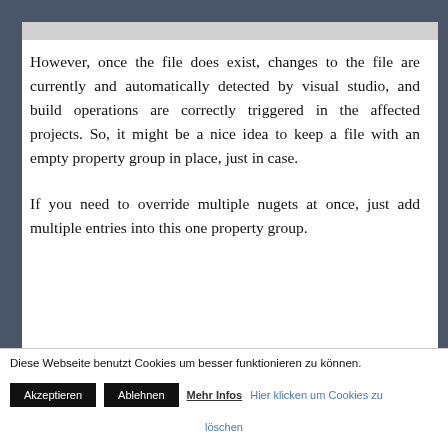However, once the file does exist, changes to the file are currently and automatically detected by visual studio, and build operations are correctly triggered in the affected projects. So, it might be a nice idea to keep a file with an empty property group in place, just in case.
If you need to override multiple nugets at once, just add multiple entries into this one property group.
Diese Webseite benutzt Cookies um besser funktionieren zu können.
Akzeptieren  Ablehnen  Mehr Infos Hier klicken um Cookies zu löschen